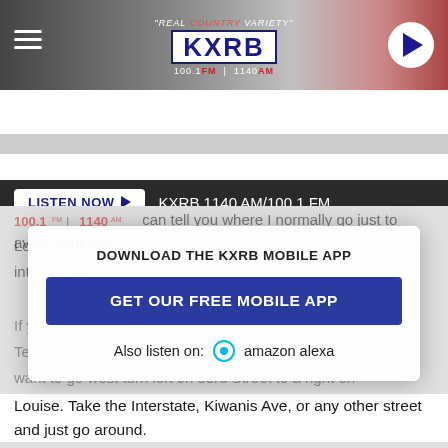[Figure (screenshot): KXRB radio station header with logo, hamburger menu, and play button]
LISTEN NOW ▶  KXRB 1140 AM/100.1 FM
f Share   Tweet
can tell you where I normally go just to avoid 49th and Louise before all of the construction, because I hate that intersection.
DOWNLOAD THE KXRB MOBILE APP
GET OUR FREE MOBILE APP
Also listen on:  amazon alexa
If you want to go east from northbound Louise, turn right on Tennis Lane and navigate to 51st and then Oxbow. If you want to go west turn left on 53rd Street to a right on Technology Drive and then on to Lakeshore Boulevard.
If you are on southbound Louise, dont drive southbound on Louise. Take the Interstate, Kiwanis Ave, or any other street and just go around.